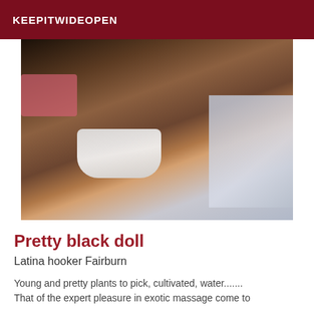KEEPITWIDEOPEN
[Figure (photo): Close-up photo of a person's torso and midsection, wearing white underwear, dark skin tone, with a pink object and grey cushion visible in the background.]
Pretty black doll
Latina hooker Fairburn
Young and pretty plants to pick, cultivated, water....... That of the expert pleasure in exotic massage come to